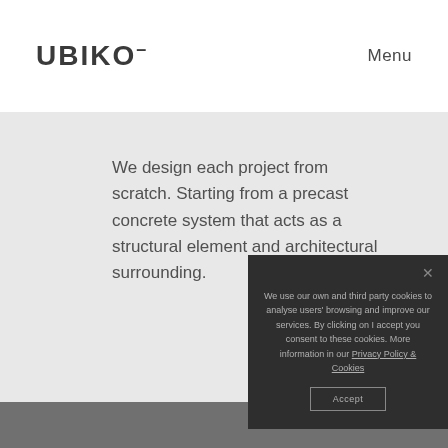UBIKO¯  Menu
We design each project from scratch. Starting from a precast concrete system that acts as a structural element and architectural surrounding.
We use our own and third party cookies to analyse users' browsing and improve our services. By clicking on I accept you consent to these cookies. More information in our Privacy Policy & Cookies
Accept